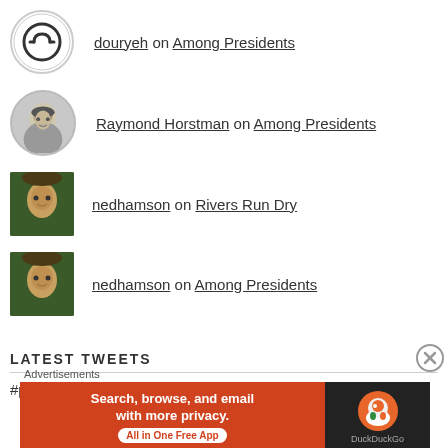douryeh on Among Presidents
Raymond Horstman on Among Presidents
nedhamson on Rivers Run Dry
nedhamson on Among Presidents
LATEST TWEETS
#poetry #VladimirPutin #MikhailGorbatsjev
[Figure (infographic): DuckDuckGo advertisement banner: orange left side with text 'Search, browse, and email with more privacy. All in One Free App', dark right side with DuckDuckGo duck logo and brand name. 'Advertisements' label above.]